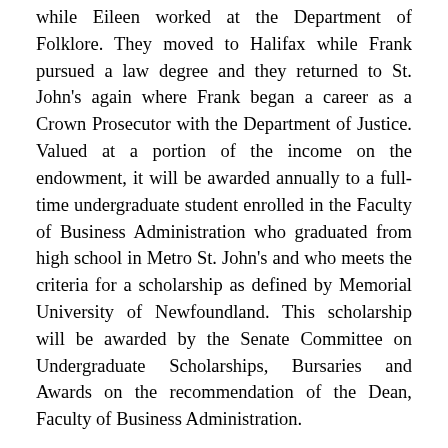while Eileen worked at the Department of Folklore. They moved to Halifax while Frank pursued a law degree and they returned to St. John's again where Frank began a career as a Crown Prosecutor with the Department of Justice. Valued at a portion of the income on the endowment, it will be awarded annually to a full-time undergraduate student enrolled in the Faculty of Business Administration who graduated from high school in Metro St. John's and who meets the criteria for a scholarship as defined by Memorial University of Newfoundland. This scholarship will be awarded by the Senate Committee on Undergraduate Scholarships, Bursaries and Awards on the recommendation of the Dean, Faculty of Business Administration.
William A. Gruchy Memorial Scholarship